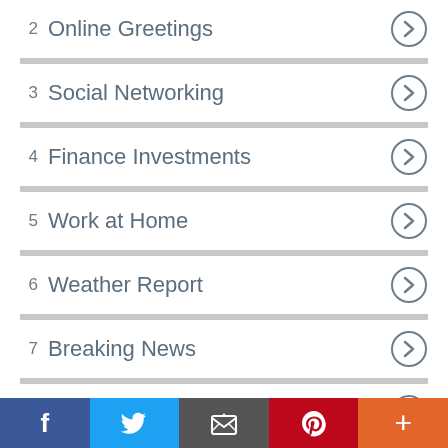2  Online Greetings
3  Social Networking
4  Finance Investments
5  Work at Home
6  Weather Report
7  Breaking News
8  Health and Fitness
9  Hotel Reservations
f  Twitter  email  Pinterest  +